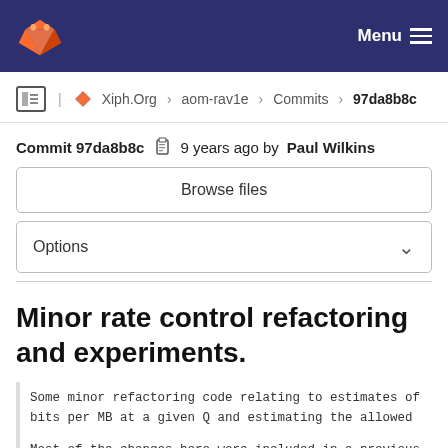GitLab navigation bar with logo and Menu
Xiph.Org › aom-rav1e › Commits › 97da8b8c
Commit 97da8b8c  9 years ago by Paul Wilkins
Browse files
Options
Minor rate control refactoring and experiments.
Some minor refactoring code relating to estimates of bits per MB at a given Q and estimating the allowed

Most of the changes here were included in a previous This commit seeks to separate out the refactoring fr the material changes.